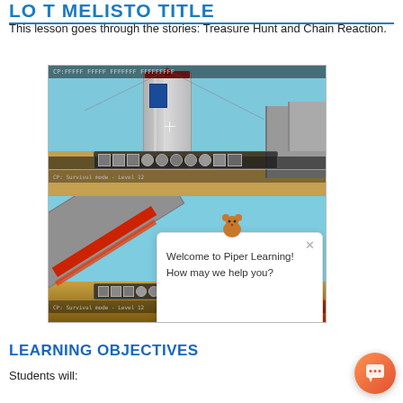LESSON TITLE
This lesson goes through the stories: Treasure Hunt and Chain Reaction.
[Figure (screenshot): Two Minecraft game screenshots stacked vertically. Top screenshot shows a tall grey tower/pillar structure in a Minecraft world with a toolbar at the bottom. Bottom screenshot shows a diagonal structure with red stripes and fire/explosion effects. A chat popup overlay reads 'Welcome to Piper Learning! How may we help you?' with a mouse mascot and an X close button.]
LEARNING OBJECTIVES
Students will: